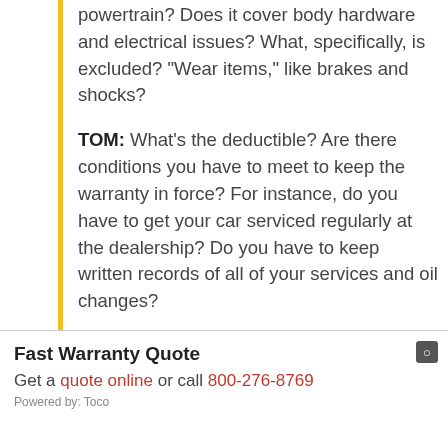powertrain? Does it cover body hardware and electrical issues? What, specifically, is excluded? "Wear items," like brakes and shocks?
TOM: What's the deductible? Are there conditions you have to meet to keep the warranty in force? For instance, do you have to get your car serviced regularly at the dealership? Do you have to keep written records of all of your services and oil changes?
RAY: If you don't feel capable of doing a "close read" of the warranty's fine print by yourself, then it's worth paying an
Fast Warranty Quote
Get a quote online or call 800-276-8769
Powered by: Toco